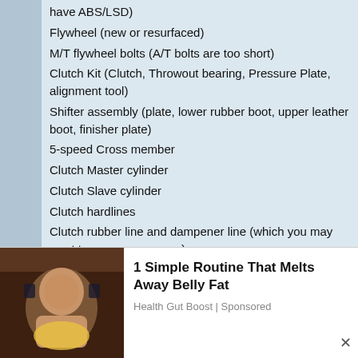have ABS/LSD)
Flywheel (new or resurfaced)
M/T flywheel bolts (A/T bolts are too short)
Clutch Kit (Clutch, Throwout bearing, Pressure Plate, alignment tool)
Shifter assembly (plate, lower rubber boot, upper leather boot, finisher plate)
5-speed Cross member
Clutch Master cylinder
Clutch Slave cylinder
Clutch hardlines
Clutch rubber line and dampener line (which you may want to remove anyways)
Clutch pedal assembly
5-Speed Brake pedal assembly or a cut brake pedal
Bellhousing bolts for a 5 speed bellhousing (some of the A/T bolts can be reused)
Bolts to hold Pressure Plate to Flywheel (same thread as bolts that hold shifter to transmission, but a tad shorter)
Procedure:
[Figure (photo): Advertisement overlay showing a person holding food with text '1 Simple Routine That Melts Away Belly Fat' from Health Gut Boost (Sponsored)]